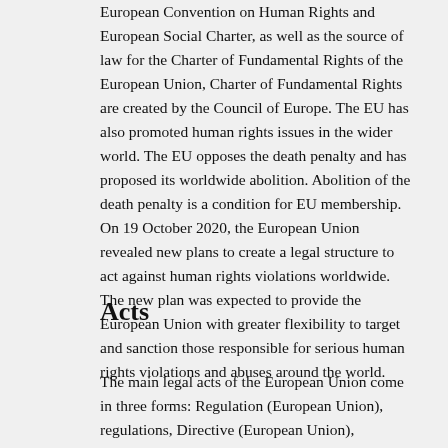European Convention on Human Rights and European Social Charter, as well as the source of law for the Charter of Fundamental Rights of the European Union, Charter of Fundamental Rights are created by the Council of Europe. The EU has also promoted human rights issues in the wider world. The EU opposes the death penalty and has proposed its worldwide abolition. Abolition of the death penalty is a condition for EU membership. On 19 October 2020, the European Union revealed new plans to create a legal structure to act against human rights violations worldwide. The new plan was expected to provide the European Union with greater flexibility to target and sanction those responsible for serious human rights violations and abuses around the world.
Acts
The main legal acts of the European Union come in three forms: Regulation (European Union), regulations, Directive (European Union), directives, and Decision (European Union), decisions. Regulations become law